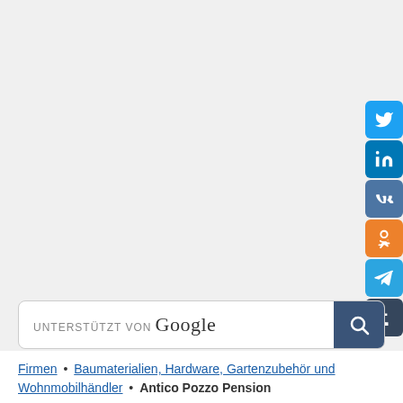[Figure (infographic): Social media sharing buttons on right side: Twitter (blue bird), LinkedIn (blue 'in'), VK (blue 'VK'), Odnoklassniki (orange 'OK'), Telegram (blue paper plane), Tumblr (dark 't')]
UNTERSTÜTZT VON Google
Firmen • Baumaterialien, Hardware, Gartenzubehör und Wohnmobilhändler • Antico Pozzo Pension